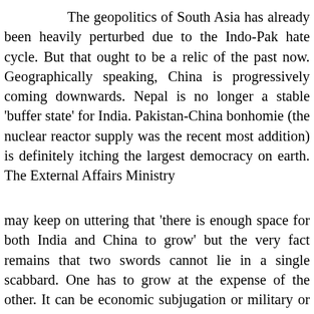The geopolitics of South Asia has already been heavily perturbed due to the Indo-Pak hate cycle. But that ought to be a relic of the past now. Geographically speaking, China is progressively coming downwards. Nepal is no longer a stable 'buffer state' for India. Pakistan-China bonhomie (the nuclear reactor supply was the recent most addition) is definitely itching the largest democracy on earth. The External Affairs Ministry
may keep on uttering that 'there is enough space for both India and China to grow' but the very fact remains that two swords cannot lie in a single scabbard. One has to grow at the expense of the other. It can be economic subjugation or military or technological or cultural or even ideological. In Europe, France and England could never co-exist peacefully for ages. Britain's reluctance, even today after two devastating world wars, to be a part of the common currency